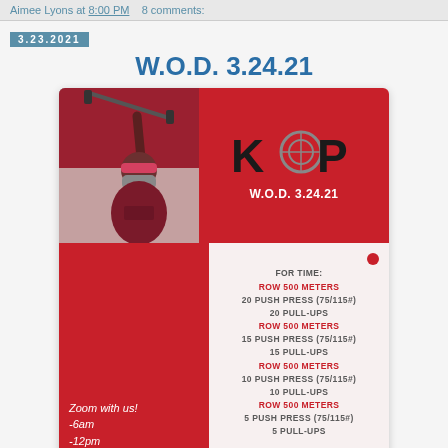Aimee Lyons at 8:00 PM   8 comments:
3.23.2021
W.O.D. 3.24.21
[Figure (infographic): KOP (King of Prussia CrossFit) workout of the day graphic. Red background with KOP logo, photo of athlete lifting barbell overhead wearing mask and bandana. Workout listed: FOR TIME: ROW 500 METERS, 20 PUSH PRESS (75/115#), 20 PULL-UPS, ROW 500 METERS, 15 PUSH PRESS (75/115#), 15 PULL-UPS, ROW 500 METERS, 10 PUSH PRESS (75/115#), 10 PULL-UPS, ROW 500 METERS, 5 PUSH PRESS (75/115#), 5 PULL-UPS. Zoom with us! -6am -12pm]
W.O.D. 3.24.21